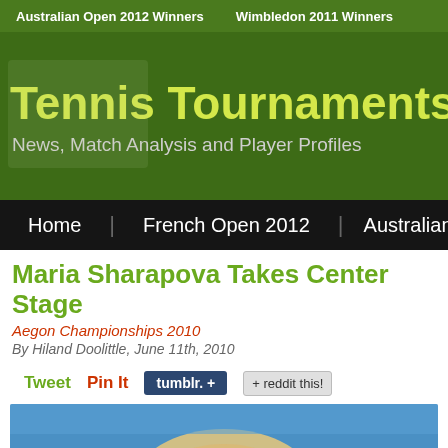Australian Open 2012 Winners   Wimbledon 2011 Winners
Tennis Tournaments
News, Match Analysis and Player Profiles
Home | French Open 2012 | Australian Ope
Maria Sharapova Takes Center Stage
Aegon Championships 2010
By Hiland Doolittle, June 11th, 2010
Tweet   Pin It   tumblr. +   + reddit this!
[Figure (photo): Photo of Maria Sharapova at Aegon Championships 2010, partially visible at bottom of page]